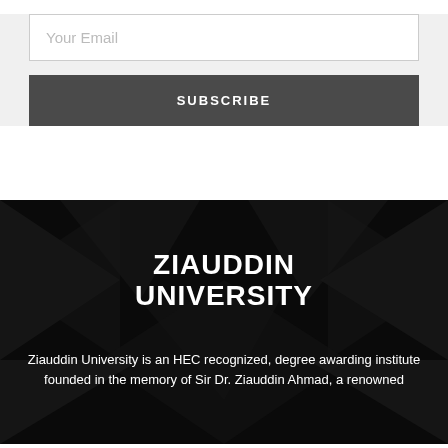Your Email
SUBSCRIBE
[Figure (logo): Ziauddin University logo with bold white text on dark geometric background]
Ziauddin University is an HEC recognized, degree awarding institute founded in the memory of Sir Dr. Ziauddin Ahmad, a renowned